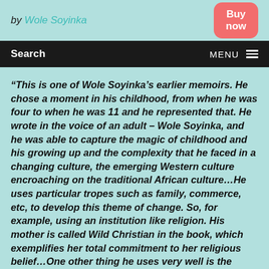by Wole Soyinka
Buy now
Search   MENU
“This is one of Wole Soyinka’s earlier memoirs. He chose a moment in his childhood, from when he was four to when he was 11 and he represented that. He wrote in the voice of an adult – Wole Soyinka, and he was able to capture the magic of childhood and his growing up and the complexity that he faced in a changing culture, the emerging Western culture encroaching on the traditional African culture…He uses particular tropes such as family, commerce, etc, to develop this theme of change. So, for example, using an institution like religion. His mother is called Wild Christian in the book, which exemplifies her total commitment to her religious belief…One other thing he uses very well is the Second World War. The book is set in the